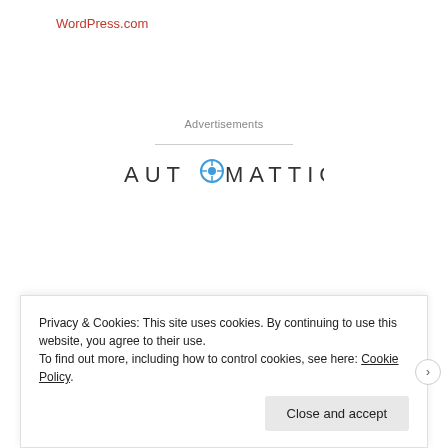WordPress.com
Advertisements
[Figure (logo): Automattic logo — wordmark with compass icon replacing the letter O]
Build a better web
Privacy & Cookies: This site uses cookies. By continuing to use this website, you agree to their use. To find out more, including how to control cookies, see here: Cookie Policy
Close and accept